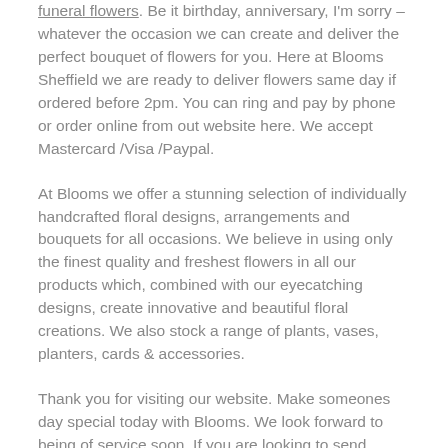funeral flowers. Be it birthday, anniversary, I'm sorry – whatever the occasion we can create and deliver the perfect bouquet of flowers for you. Here at Blooms Sheffield we are ready to deliver flowers same day if ordered before 2pm. You can ring and pay by phone or order online from out website here. We accept Mastercard /Visa /Paypal.
At Blooms we offer a stunning selection of individually handcrafted floral designs, arrangements and bouquets for all occasions. We believe in using only the finest quality and freshest flowers in all our products which, combined with our eyecatching designs, create innovative and beautiful floral creations. We also stock a range of plants, vases, planters, cards & accessories.
Thank you for visiting our website. Make someones day special today with Blooms. We look forward to being of service soon. If you are looking to send flowers today for any occasion – look no further, order here and let Blooms Sheffield be the benchmark for online flowe...